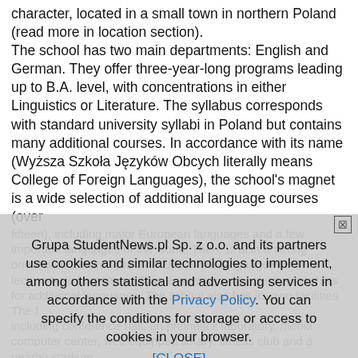character, located in a small town in northern Poland (read more in location section). The school has two main departments: English and German. They offer three-year-long programs leading up to B.A. level, with concentrations in either Linguistics or Literature. The syllabus corresponds with standard university syllabi in Poland but contains many additional courses. In accordance with its name (Wyższa Szkoła Języków Obcych literally means College of Foreign Languages), the school's magnet is a wide selection of additional language courses (over
fifteen), including major European languages and a few important languages of the world. There is also a strong orientation towards practical use of the language with less lecture-type courses and more seminars and elective courses for additional languages. The school also has its own facilities including conference hall, an phonetics laboratory, media computer center, well-equipped library, fitness club and a nearby stadium.
Grupa StudentNews.pl Sp. z o.o. and its partners use cookies and similar technologies to implement, among others statistical and advertising services in accordance with the Privacy Policy. You can specify the conditions for storage or access to cookies in your browser. [CLOSE]